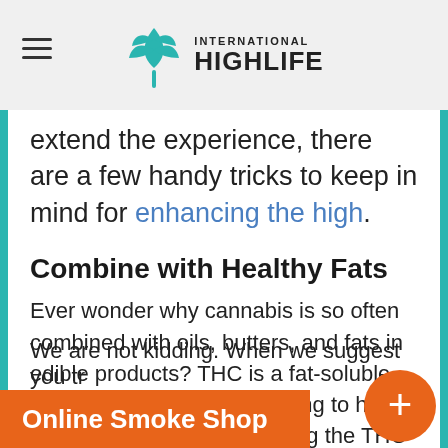International Highlife
extend the experience, there are a few handy tricks to keep in mind for enhancing the high.
Combine with Healthy Fats
Ever wonder why cannabis is so often combined with oils, butters, and fats in edible products? THC is a fat-soluble compound. Your body is going to have a much easier time absorbing the THC when combined with a fatty substance, then without it.
Eat a Mango
We are not kidding. When we suggest you tr
Online Smoke Shop